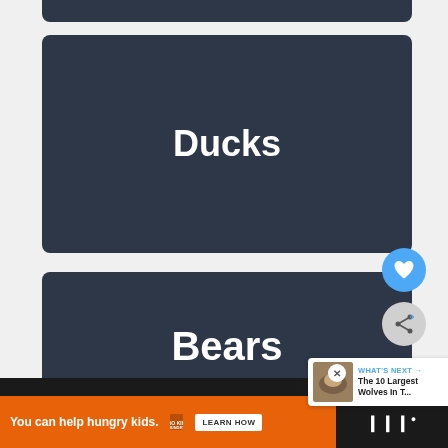[Figure (screenshot): Partial dark card at top of page, truncated]
Ducks
Bears
[Figure (screenshot): Heart/like button (blue circle with heart icon) and share button (grey circle with share icon) floating on the right side]
[Figure (screenshot): What's Next widget showing thumbnail image and text 'The 10 Largest Wolves In T...']
WHAT'S NEXT → The 10 Largest Wolves In T...
[Figure (screenshot): Advertisement banner: 'You can help hungry kids.' with No Kid Hungry logo and Learn How button]